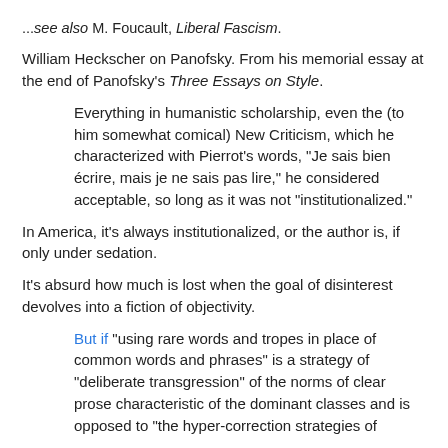...see also M. Foucault, Liberal Fascism.
William Heckscher on Panofsky. From his memorial essay at the end of Panofsky's Three Essays on Style.
Everything in humanistic scholarship, even the (to him somewhat comical) New Criticism, which he characterized with Pierrot's words, "Je sais bien écrire, mais je ne sais pas lire," he considered acceptable, so long as it was not "institutionalized."
In America, it's always institutionalized, or the author is, if only under sedation.
It's absurd how much is lost when the goal of disinterest devolves into a fiction of objectivity.
But if "using rare words and tropes in place of common words and phrases" is a strategy of "deliberate transgression" of the norms of clear prose characteristic of the dominant classes and is opposed to "the hyper-correction strategies of